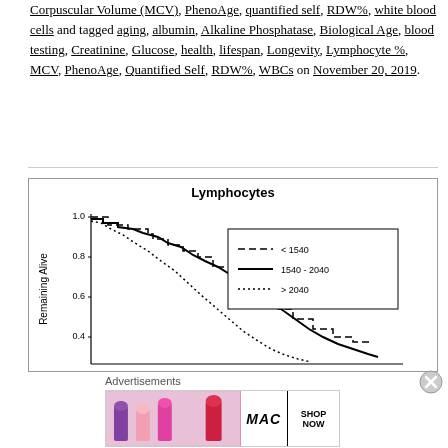Corpuscular Volume (MCV), PhenoAge, quantified self, RDW%, white blood cells and tagged aging, albumin, Alkaline Phosphatase, Biological Age, blood testing, Creatinine, Glucose, health, lifespan, Longevity, Lymphocyte %, MCV, PhenoAge, Quantified Self, RDW%, WBCs on November 20, 2019.
[Figure (continuous-plot): Kaplan-Meier survival curve showing proportion Remaining Alive vs time for three Lymphocyte groups: dashed line < 1540, solid line 1540-2040, dotted line > 2040. Y-axis from 0.4 to 1.0, showing survival declining over time.]
Advertisements
[Figure (photo): MAC cosmetics advertisement showing lipsticks in purple, pink, and red with MAC logo and SHOP NOW button]